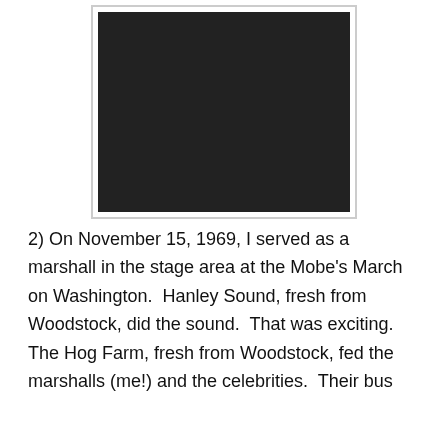[Figure (photo): A photograph of a yellow button/pin with black text reading 'NOV 15 MARCH ON WASHINGTON WASHINGTON TO BRING ALL THE TROOPS HOME NOW!' on a dark background.]
2) On November 15, 1969, I served as a marshall in the stage area at the Mobe's March on Washington.  Hanley Sound, fresh from Woodstock, did the sound.  That was exciting.  The Hog Farm, fresh from Woodstock, fed the marshalls (me!) and the celebrities.  Their bus